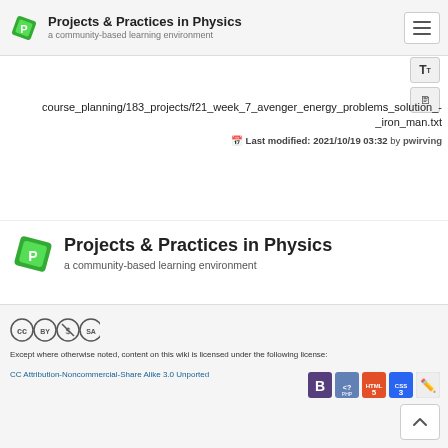Projects & Practices in Physics — a community-based learning environment
course_planning/183_projects/f21_week_7_avenger_energy_problems_solution_-_iron_man.txt
Last modified: 2021/10/19 03:32 by pwirving
Projects & Practices in Physics
a community-based learning environment
Except where otherwise noted, content on this wiki is licensed under the following license: CC Attribution-Noncommercial-Share Alike 3.0 Unported